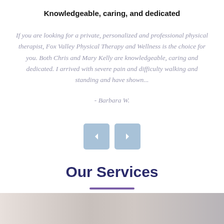Knowledgeable, caring, and dedicated
If you are looking for a private, personalized and professional physical therapist, Fox Valley Physical Therapy and Wellness is the choice for you. Both Chris and Mary Kelly are knowledgeable, caring and dedicated. I arrived with severe pain and difficulty walking and standing and have shown...
- Barbara W.
[Figure (other): Navigation buttons: left arrow and right arrow, styled as light blue rounded rectangles]
Our Services
[Figure (photo): Partial photo strip at the bottom of the page showing a person, partially cropped]